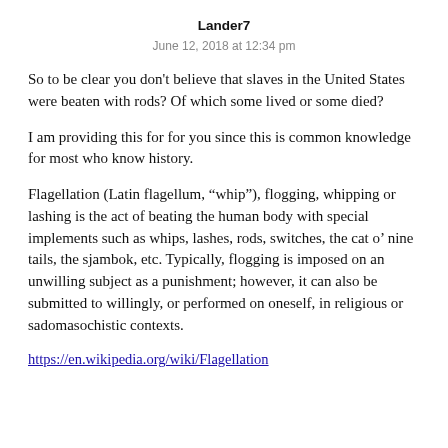Lander7
June 12, 2018 at 12:34 pm
So to be clear you don't believe that slaves in the United States were beaten with rods? Of which some lived or some died?
I am providing this for for you since this is common knowledge for most who know history.
Flagellation (Latin flagellum, “whip”), flogging, whipping or lashing is the act of beating the human body with special implements such as whips, lashes, rods, switches, the cat o’ nine tails, the sjambok, etc. Typically, flogging is imposed on an unwilling subject as a punishment; however, it can also be submitted to willingly, or performed on oneself, in religious or sadomasochistic contexts.
https://en.wikipedia.org/wiki/Flagellation